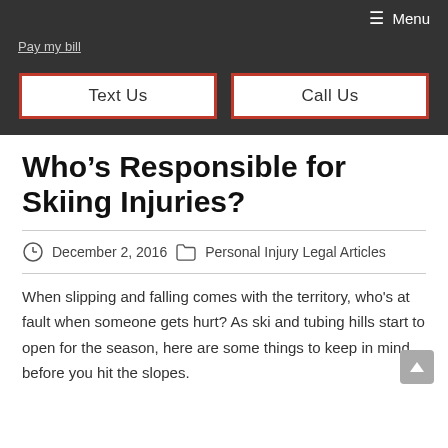Menu
Pay my bill
Text Us
Call Us
Who’s Responsible for Skiing Injuries?
December 2, 2016   Personal Injury Legal Articles
When slipping and falling comes with the territory, who's at fault when someone gets hurt? As ski and tubing hills start to open for the season, here are some things to keep in mind before you hit the slopes.